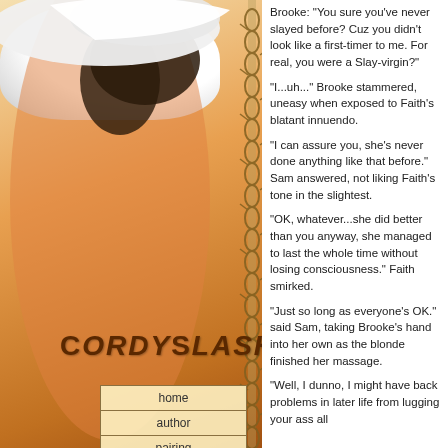[Figure (photo): Website design for 'CordySlash' fan fiction site. Left panel shows a woman's bare back with a white cowboy hat, with barbed wire chain along the right edge. Site title 'CORDYSLASH' appears on the image in brown western-style lettering. A navigation menu with items home, author, pairing, title, list, updates appears in a box on the lower left.]
Brooke: "You sure you've never slayed before? Cuz you didn't look like a first-timer to me. For real, you were a Slay-virgin?"
"I...uh..." Brooke stammered, uneasy when exposed to Faith's blatant innuendo.
"I can assure you, she's never done anything like that before." Sam answered, not liking Faith's tone in the slightest.
"OK, whatever...she did better than you anyway, she managed to last the whole time without losing consciousness." Faith smirked.
"Just so long as everyone's OK." said Sam, taking Brooke's hand into her own as the blonde finished her massage.
"Well, I dunno, I might have back problems in later life from lugging your ass all